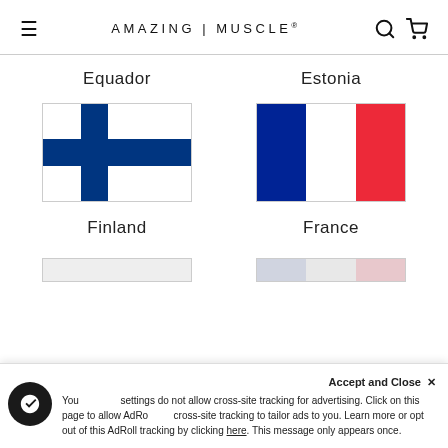AMAZING | MUSCLE®
Equador
Estonia
[Figure (illustration): Flag of Finland — white background with blue Nordic cross]
[Figure (illustration): Flag of France — vertical blue, white, and red stripes]
Finland
France
You settings do not allow cross-site tracking for advertising. Click on this page to allow AdRoll cross-site tracking to tailor ads to you. Learn more or opt out of this AdRoll tracking by clicking here. This message only appears once.